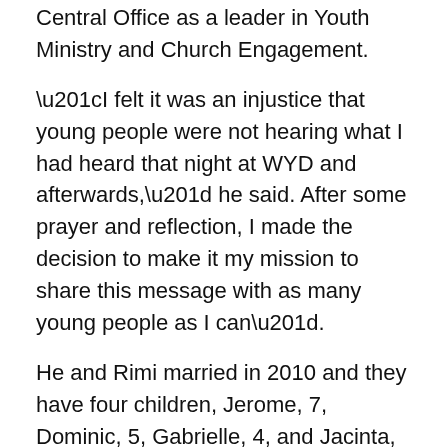Central Office as a leader in Youth Ministry and Church Engagement.
“I felt it was an injustice that young people were not hearing what I had heard that night at WYD and afterwards,” he said. After some prayer and reflection, I made the decision to make it my mission to share this message with as many young people as I can”.
He and Rimi married in 2010 and they have four children, Jerome, 7, Dominic, 5, Gabrielle, 4, and Jacinta, 2.
Now with Youth Officers John Nguyen and Jennifer Healey, Milad is preparing to launch a new strategic vision for Sydney Catholic Youth on 19 March at St Joachim’s Parish in Lidcombe. He hopes to further develop parish-based youth and young adult ministry and foster stronger collaboration between Sydney Catholic Youth and other archdiocesan